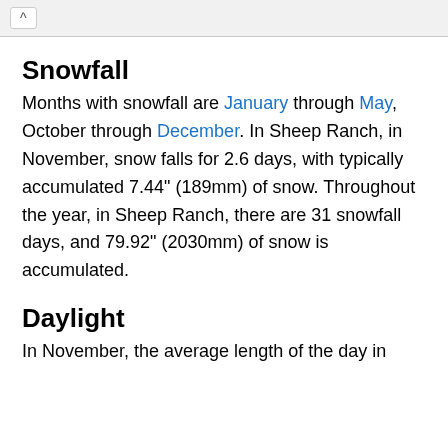Snowfall
Months with snowfall are January through May, October through December. In Sheep Ranch, in November, snow falls for 2.6 days, with typically accumulated 7.44" (189mm) of snow. Throughout the year, in Sheep Ranch, there are 31 snowfall days, and 79.92" (2030mm) of snow is accumulated.
Daylight
In November, the average length of the day in